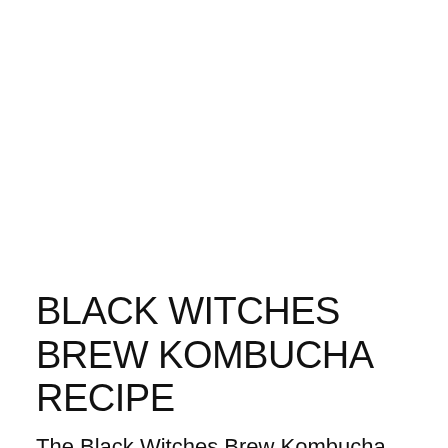BLACK WITCHES BREW KOMBUCHA RECIPE
The Black Witches Brew Kombucha Recipe originates in the USA, where key ingredients